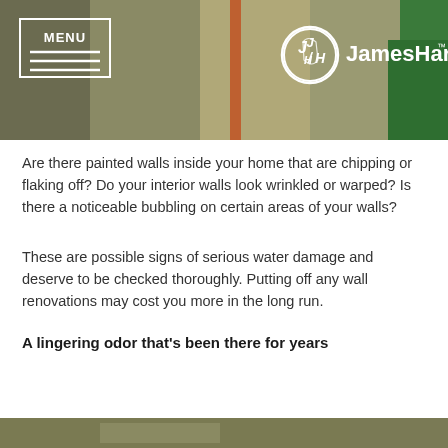[Figure (screenshot): James Hardie website header banner with menu icon on the left, James Hardie logo in center, and a background photo showing interior wall panels with a ladder]
Are there painted walls inside your home that are chipping or flaking off? Do your interior walls look wrinkled or warped? Is there a noticeable bubbling on certain areas of your walls?
These are possible signs of serious water damage and deserve to be checked thoroughly. Putting off any wall renovations may cost you more in the long run.
A lingering odor that's been there for years
[Figure (photo): Bottom photo strip of interior wall/construction scene, partially visible at the bottom of the page]